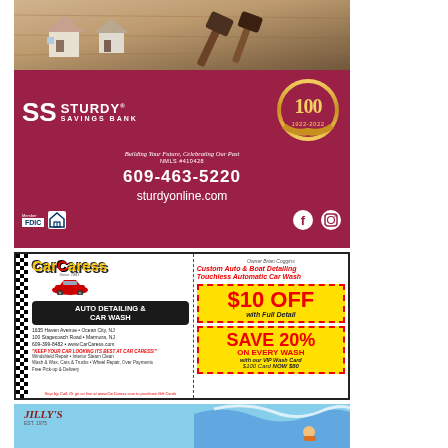[Figure (advertisement): Sturdy Savings Bank advertisement with maroon background, bank logo with SS initials, 100th anniversary medallion (1922-2022), tagline 'Building Your Future, Celebrating Our Past', NMLS#410428, phone 609-463-5220, website sturdyonline.com, Member FDIC logo, social media icons. Top portion shows photo of small house models and gavel on wood surface.]
[Figure (advertisement): Car Caress Auto Detailing & Car Wash advertisement. Left side: CarCaress logo in yellow, red car graphic, black oval with 'AUTO DETAILING & CAR WASH', addresses at 1635 Haven Avenue Ocean City NJ and 100 Stagecoach Road Marmora NJ, phone 609-399-8482, www.CarCaress.com. Right side: coupons - '$10 OFF with Full Detail' on yellow background with red dashed border, 'SAVE 20% ON EVERY WASH with our VIP Wash Card $100 Card NOW $80'. Bottom: 'Stop by, Call, Or go on line at www.CarCaress.com to purchase Gift Cards']
[Figure (advertisement): Jilly's advertisement (partial view) with light blue background, Jilly's red script logo, EST. 1975, with wave/water graphics visible]